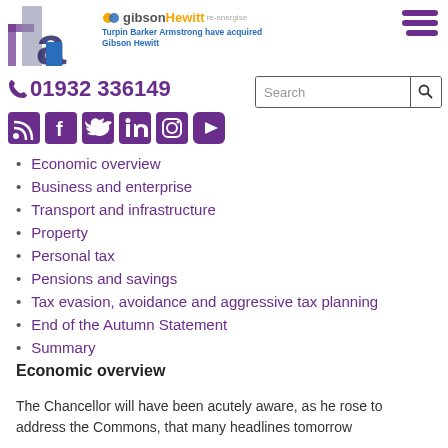[Figure (logo): TBA (Turpin Barker Armstrong) logo combined with Gibson Hewitt re-energise logo and tagline 'Turpin Barker Armstrong have acquired Gibson Hewitt']
[Figure (infographic): Hamburger menu icon (three horizontal purple lines) in top right corner]
01932 336149
[Figure (infographic): Search bar with text 'Search' and magnifying glass icon]
[Figure (infographic): Social media icons: RSS, Facebook, Twitter, LinkedIn, Instagram, YouTube in purple]
Economic overview
Business and enterprise
Transport and infrastructure
Property
Personal tax
Pensions and savings
Tax evasion, avoidance and aggressive tax planning
End of the Autumn Statement
Summary
Economic overview
The Chancellor will have been acutely aware, as he rose to address the Commons, that many headlines tomorrow